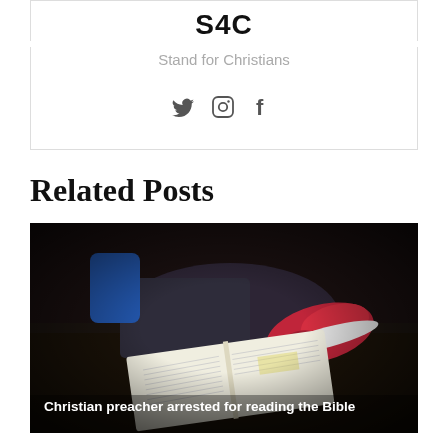S4C
Stand for Christians
[Figure (other): Social media icons: Twitter, Instagram, Facebook]
Related Posts
[Figure (photo): Person sitting reading an open Bible on a dark wooden surface, wearing red sneakers]
Christian preacher arrested for reading the Bible